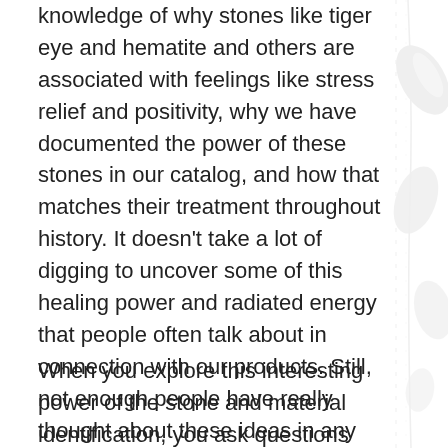knowledge of why stones like tiger eye and hematite and others are associated with feelings like stress relief and positivity, why we have documented the power of these stones in our catalog, and how that matches their treatment throughout history. It doesn't take a lot of digging to uncover some of this healing power and radiated energy that people often talk about in connection with our products. Still, not enough people have really thought about these ideas in any detail.
When you explore this interesting power of the stone and material identification, you ask questions about